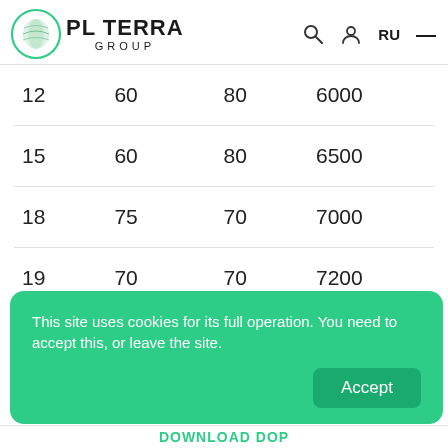PLYTERRA GROUP
| 12 | 60 | 80 | 6000 |
| 15 | 60 | 80 | 6500 |
| 18 | 75 | 70 | 7000 |
| 19 | 70 | 70 | 7200 |
| 21; 24; 27; 30 | 70 | 70 | 7000 |
This site uses cookies for its full operation. You need to accept this, or leave the site.
DOWNLOAD DOP